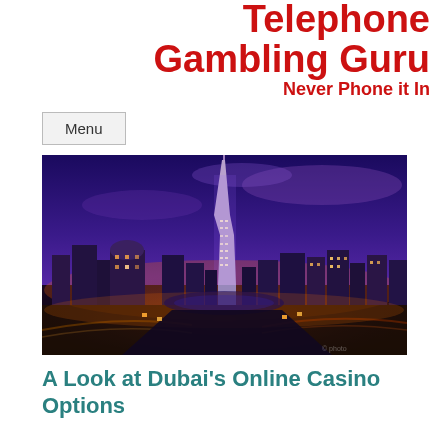Telephone Gambling Guru
Never Phone it In
Menu
[Figure (photo): Night aerial photo of Dubai skyline featuring the Burj Khalifa lit up against a purple/blue night sky, with city lights and highways visible below]
A Look at Dubai's Online Casino Options